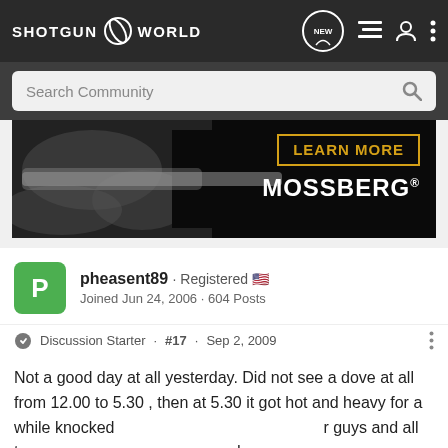SHOTGUN WORLD
Search Community
[Figure (photo): Mossberg shotgun advertisement with camouflage-pattern shotgun on black background. Text: LEARN MORE / MOSSBERG]
pheasent89 · Registered
Joined Jun 24, 2006 · 604 Posts
Discussion Starter · #17 · Sep 2, 2009
Not a good day at all yesterday. Did not see a dove at all from 12.00 to 5.30 , then at 5.30 it got hot and heavy for a while knocked r guys and all t down
[Figure (photo): Bass Pro Shops advertisement. Text: RELOADING SUPPLIES / SHOP NOW]